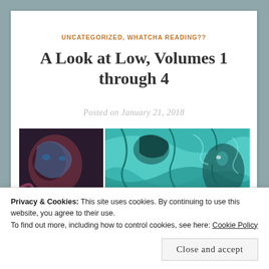UNCATEGORIZED, WHATCHA READING??
A Look at Low, Volumes 1 through 4
Posted on January 21, 2018
[Figure (illustration): Comic book cover art collage showing colorful underwater/fantasy scenes in teal and dark colors]
Privacy & Cookies: This site uses cookies. By continuing to use this website, you agree to their use.
To find out more, including how to control cookies, see here: Cookie Policy
Close and accept